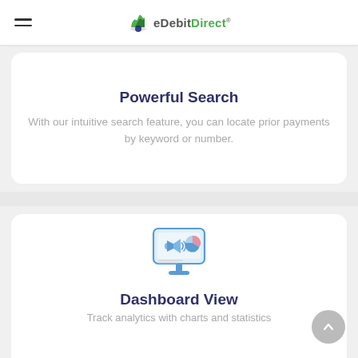eDebitDirect
Powerful Search
With our intuitive search feature, you can locate prior payments by keyword or number.
[Figure (illustration): Monitor screen icon with a megaphone and pie chart, in blue and pink outline style, representing Dashboard analytics.]
Dashboard View
Track analytics with charts and statistics